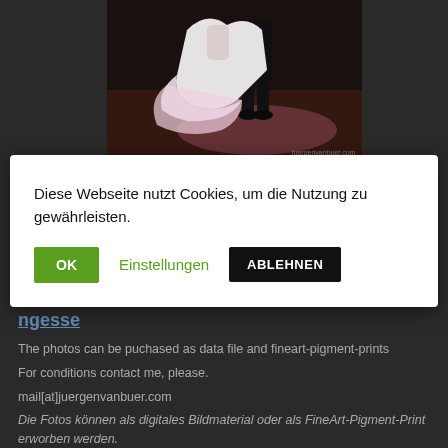[Figure (photo): Ballroom dancers photographed from below/floor level — female dancer in white flowing dress, male dancer in black tuxedo, on a wooden dance floor with pink/purple lighting]
Diese Webseite nutzt Cookies, um die Nutzung zu gewährleisten.
OK | Einstellungen | ABLEHNEN
The photos can be puchased as data file and fineart-pigment-prints
For conditions contact me, please.
mail[at]juergenvanbuer.com
Die Fotos können als digitales Bildmaterial oder als FineArt-Pigment-Print erworben werden.